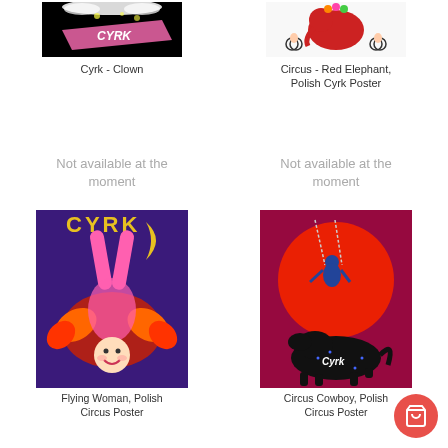[Figure (photo): Cyrk clown poster - dark background with pink ribbon and white feathery text]
Cyrk - Clown
[Figure (photo): Circus Red Elephant Polish Cyrk Poster - red elephant with cyclists on white background]
Circus - Red Elephant, Polish Cyrk Poster
Not available at the moment
Not available at the moment
[Figure (photo): Flying Woman Polish Circus Poster - purple background with CYRK text, woman doing acrobatics with pink legs up and feathery hair]
Flying Woman, Polish Circus Poster
[Figure (photo): Circus Cowboy Polish Circus Poster - red sun on purple background, blue acrobat on swing, black horse with CYRK text]
Circus Cowboy, Polish Circus Poster